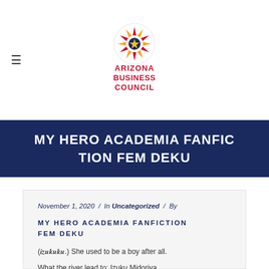[Figure (logo): Arizona Business Council logo with Arizona state flag sun design on top and red text reading ARIZONA BUSINESS COUNCIL below]
MY HERO ACADEMIA FANFICTION FEM DEKU
November 1, 2020 / In Uncategorized / By
MY HERO ACADEMIA FANFICTION FEM DEKU
(𝒊𝒛𝒖𝒌𝒖𝒌𝒖.) She used to be a boy after all.
What the river lead to: Izuku Midoriya